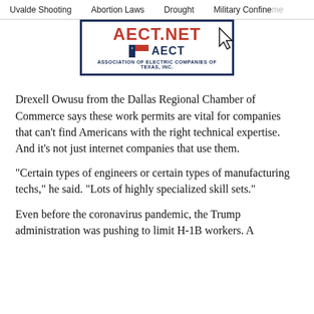Uvalde Shooting   Abortion Laws   Drought   Military Confinement
[Figure (logo): AECT.NET logo with Association of Electric Companies of Texas, Inc. banner and cursor icon]
Drexell Owusu from the Dallas Regional Chamber of Commerce says these work permits are vital for companies that can’t find Americans with the right technical expertise. And it’s not just internet companies that use them.
"Certain types of engineers or certain types of manufacturing techs," he said. "Lots of highly specialized skill sets."
Even before the coronavirus pandemic, the Trump administration was pushing to limit H-1B workers. A